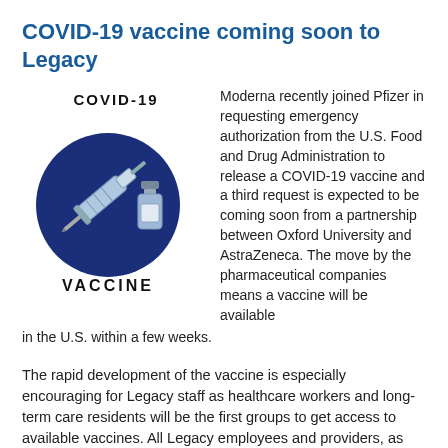COVID-19 vaccine coming soon to Legacy
[Figure (illustration): COVID-19 vaccine illustration: a dark blue circle with a syringe and vaccine vial, labeled 'COVID-19' above and 'VACCINE' below in bold black text]
Moderna recently joined Pfizer in requesting emergency authorization from the U.S. Food and Drug Administration to release a COVID-19 vaccine and a third request is expected to be coming soon from a partnership between Oxford University and AstraZeneca. The move by the pharmaceutical companies means a vaccine will be available in the U.S. within a few weeks.
The rapid development of the vaccine is especially encouraging for Legacy staff as healthcare workers and long-term care residents will be the first groups to get access to available vaccines. All Legacy employees and providers, as well as affiliated providers and their staff who wish to be vaccinated and cannot work